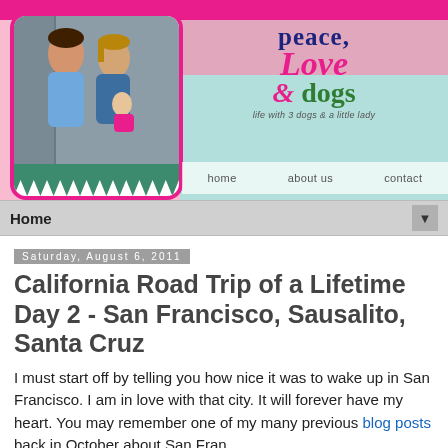[Figure (screenshot): Blog header banner for 'Peace, Love & Dogs' blog showing a couple with a baby on the left, decorative pink and mint green background with roses, blog title in stylized fonts, tagline 'life with 3 dogs & a little lady', and navigation links: home, about us, contact]
Home ▼
Saturday, August 6, 2011
California Road Trip of a Lifetime Day 2 - San Francisco, Sausalito, Santa Cruz
I must start off by telling you how nice it was to wake up in San Francisco.  I am in love with that city.  It will forever have my heart.  You may remember one of my many previous blog posts back in October about San Fran.